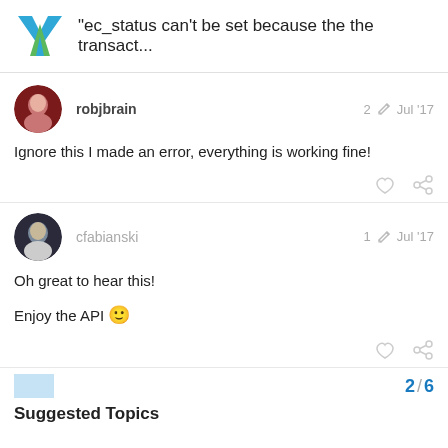“ec_status can’t be set because the the transact...
robjbrain — 2 edits — Jul '17
Ignore this I made an error, everything is working fine!
cfabianski — 1 edit — Jul '17
Oh great to hear this!

Enjoy the API 🙂
2 / 6
Suggested Topics